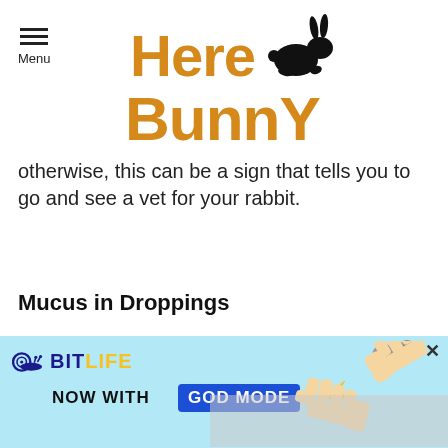[Figure (logo): Here Bunny logo with orange bold text 'Here Bunny' and a black silhouette of a jumping rabbit]
otherwise, this can be a sign that tells you to go and see a vet for your rabbit.
Mucus in Droppings
Conclusion
A light brown or beige colored poop means a norma
[Figure (screenshot): BitLife advertisement banner: 'BitLife NOW WITH GOD MODE' with snail logo, lightning bolt, and pointing hand graphics on light blue background]